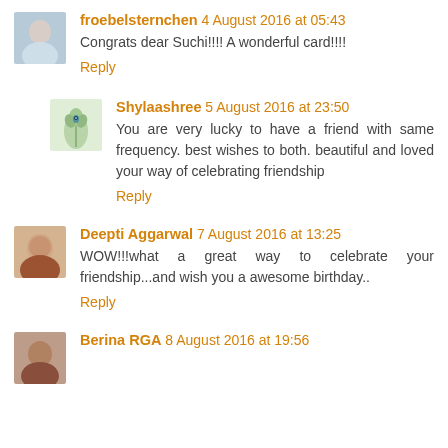froebelsternchen 4 August 2016 at 05:43
Congrats dear Suchi!!!! A wonderful card!!!!
Reply
Shylaashree 5 August 2016 at 23:50
You are very lucky to have a friend with same frequency. best wishes to both. beautiful and loved your way of celebrating friendship
Reply
Deepti Aggarwal 7 August 2016 at 13:25
WOW!!!what a great way to celebrate your friendship...and wish you a awesome birthday..
Reply
Berina RGA 8 August 2016 at 19:56